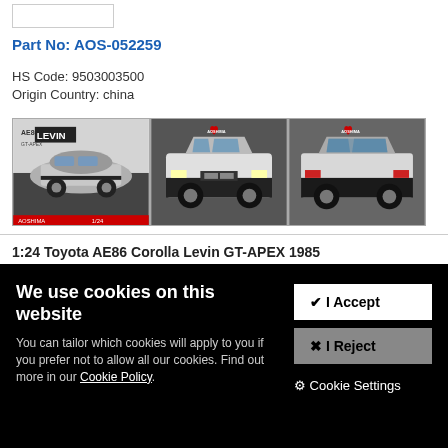Part No: AOS-052259
HS Code: 9503003500
Origin Country: china
[Figure (photo): Three product images of a 1:24 scale Toyota AE86 Corolla Levin GT-APEX 1985 model car kit. Left image shows the box art with 'AE86 LEVIN GT-APEX' text and a silver/black coupe. Middle and right images show the assembled white and black model car from slightly different angles, with a red heart-shaped logo/sticker visible.]
1:24 Toyota AE86 Corolla Levin GT-APEX 1985
We use cookies on this website
You can tailor which cookies will apply to you if you prefer not to allow all our cookies. Find out more in our Cookie Policy.